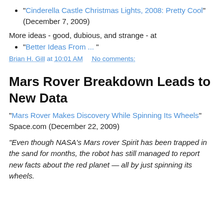"Cinderella Castle Christmas Lights, 2008: Pretty Cool" (December 7, 2009)
More ideas - good, dubious, and strange - at
"Better Ideas From ... "
Brian H. Gill at 10:01 AM   No comments:
Mars Rover Breakdown Leads to New Data
"Mars Rover Makes Discovery While Spinning Its Wheels" Space.com (December 22, 2009)
"Even though NASA’s Mars rover Spirit has been trapped in the sand for months, the robot has still managed to report new facts about the red planet — all by just spinning its wheels.